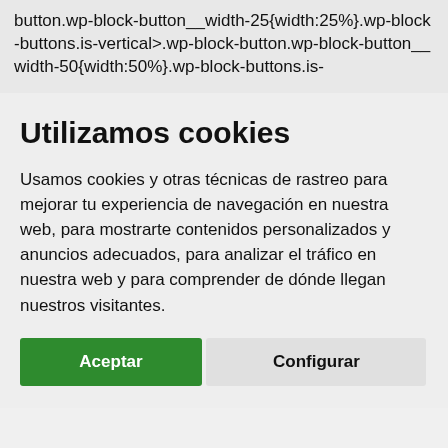button.wp-block-button__width-25{width:25%}.wp-block-buttons.is-vertical>.wp-block-button.wp-block-button__width-50{width:50%}.wp-block-buttons.is-
Utilizamos cookies
Usamos cookies y otras técnicas de rastreo para mejorar tu experiencia de navegación en nuestra web, para mostrarte contenidos personalizados y anuncios adecuados, para analizar el tráfico en nuestra web y para comprender de dónde llegan nuestros visitantes.
Aceptar
Configurar